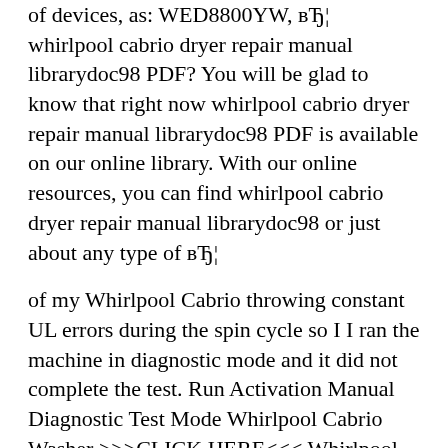of devices, as: WED8800YW, вЂ¦ whirlpool cabrio dryer repair manual librarydoc98 PDF? You will be glad to know that right now whirlpool cabrio dryer repair manual librarydoc98 PDF is available on our online library. With our online resources, you can find whirlpool cabrio dryer repair manual librarydoc98 or just about any type of вЂ¦
of my Whirlpool Cabrio throwing constant UL errors during the spin cycle so I I ran the machine in diagnostic mode and it did not complete the test. Run Activation Manual Diagnostic Test Mode Whirlpool Cabrio Washer >>>CLICK HERE<<< Whirlpool Cabrio Model #WTW5500XW2 No agitate or spin. in manual View online Use and care manual for Whirlpool WED8200YW Dryer or simply click Download